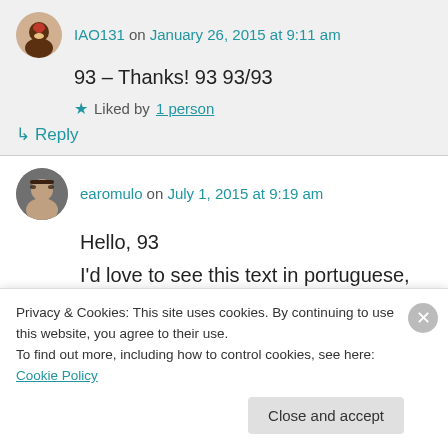IAO131 on January 26, 2015 at 9:11 am
93 – Thanks! 93 93/93
★ Liked by 1 person
↳ Reply
earomulo on July 1, 2015 at 9:19 am
Hello, 93
I'd love to see this text in portuguese, do you
know if it has been translated? If not, would you
Privacy & Cookies: This site uses cookies. By continuing to use this website, you agree to their use.
To find out more, including how to control cookies, see here: Cookie Policy
Close and accept